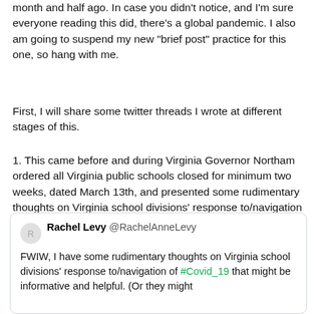month and half ago. In case you didn't notice, and I'm sure everyone reading this did, there's a global pandemic. I also am going to suspend my new "brief post" practice for this one, so hang with me.
First, I will share some twitter threads I wrote at different stages of this.
1. This came before and during Virginia Governor Northam ordered all Virginia public schools closed for minimum two weeks, dated March 13th, and presented some rudimentary thoughts on Virginia school divisions' response to/navigation of COVID-19:
[Figure (screenshot): Embedded tweet from Rachel Levy (@RachelAnneLevy) reading: FWIW, I have some rudimentary thoughts on Virginia school divisions' response to/navigation of #Covid_19 that might be informative and helpful. (Or they might]